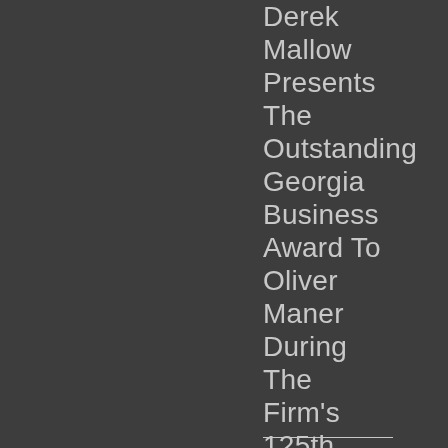Derek Mallow Presents The Outstanding Georgia Business Award To Oliver Maner During The Firm's 125th Anniversary Year